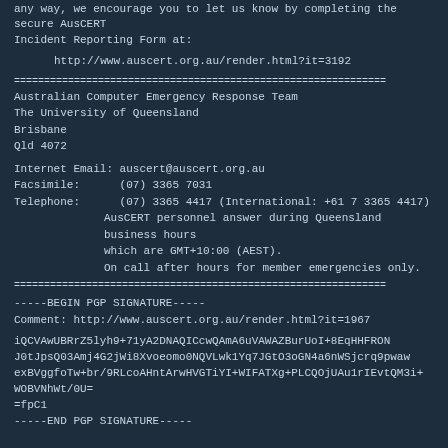any way, we encourage you to let us know by completing the secure AusCERT Incident Reporting Form at:
http://www.auscert.org.au/render.html?it=3192
==============================================================
Australian Computer Emergency Response Team
The University of Queensland
Brisbane
Qld 4072
Internet Email: auscert@auscert.org.au
Facsimile:      (07) 3365 7031
Telephone:      (07) 3365 4417 (International: +61 7 3365 4417)
                AusCERT personnel answer during Queensland business hours
                which are GMT+10:00 (AEST).
                On call after hours for member emergencies only.
==============================================================
-----BEGIN PGP SIGNATURE-----
Comment: http://www.auscert.org.au/render.html?it=1967
iQCVAwUBRrZ5lyh9+71yA2DNAQICcwQAmA6uVAWAZBurUoI+8EqHHFRON
J0tJpsQ03Amj4G2jWi8Xvoeomo0NQVLwk1Yq7JGtO3oGN4a6nWSjcrq9pwaw
exBVggfoTw+br/9RLcoAHntArwHVGTiYI+WIFATXg+PLCQOjUAu1rIEvtQM3i+
WOBVNhWt/0U=
=fpC1
-----END PGP SIGNATURE-----
OPERATING SYSTEM: